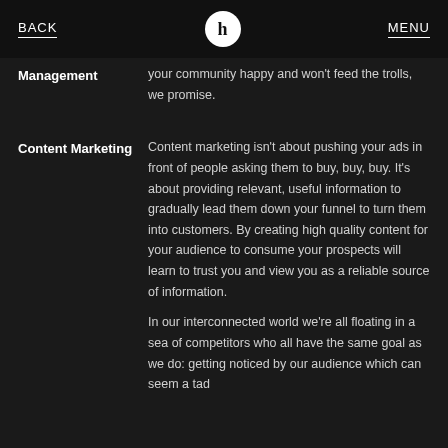BACK | h | MENU
Management
your community happy and won't feed the trolls, we promise.
Content Marketing
Content marketing isn't about pushing your ads in front of people asking them to buy, buy, buy. It's about providing relevant, useful information to gradually lead them down your funnel to turn them into customers. By creating high quality content for your audience to consume your prospects will learn to trust you and view you as a reliable source of information.
In our interconnected world we're all floating in a sea of competitors who all have the same goal as we do: getting noticed by our audience which can seem a tad